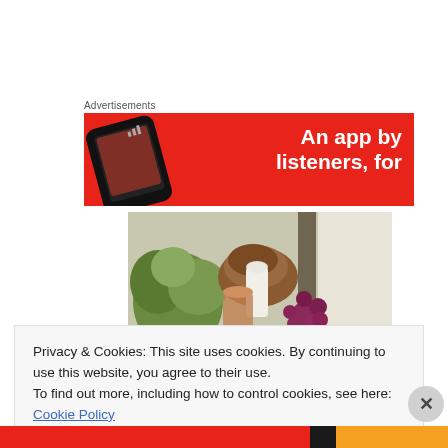Advertisements
[Figure (illustration): Red advertisement banner with a smartphone image on the left and white bold text reading 'An app by listeners, for' on the right]
[Figure (photo): Photo of food items including green vegetables, fruits, grapes, a white candle, and jars on a table]
Privacy & Cookies: This site uses cookies. By continuing to use this website, you agree to their use.
To find out more, including how to control cookies, see here: Cookie Policy
Close and accept